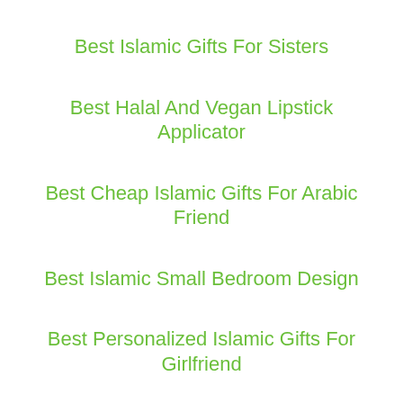Best Islamic Gifts For Sisters
Best Halal And Vegan Lipstick Applicator
Best Cheap Islamic Gifts For Arabic Friend
Best Islamic Small Bedroom Design
Best Personalized Islamic Gifts For Girlfriend
Best Cheap Islamic Gifts For Girlfriend